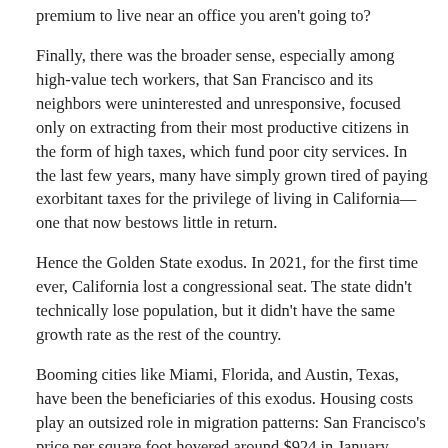premium to live near an office you aren't going to?
Finally, there was the broader sense, especially among high-value tech workers, that San Francisco and its neighbors were uninterested and unresponsive, focused only on extracting from their most productive citizens in the form of high taxes, which fund poor city services. In the last few years, many have simply grown tired of paying exorbitant taxes for the privilege of living in California—one that now bestows little in return.
Hence the Golden State exodus. In 2021, for the first time ever, California lost a congressional seat. The state didn't technically lose population, but it didn't have the same growth rate as the rest of the country.
Booming cities like Miami, Florida, and Austin, Texas, have been the beneficiaries of this exodus. Housing costs play an outsized role in migration patterns: San Francisco's price per square foot hovered around $924 in January 2022. In Miami, it's about $300 per square foot, and in Austin, it's about $330 per square foot.